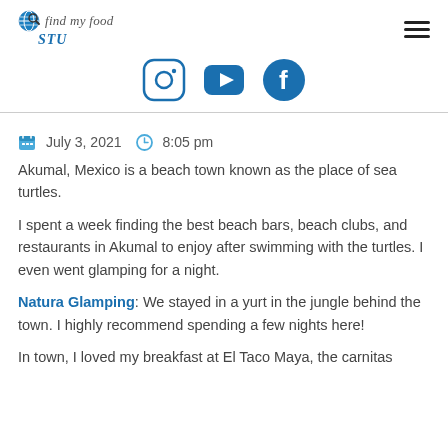find my food STU
[Figure (logo): Find My Food Stu logo with globe icon, social media icons: Instagram, YouTube, Facebook]
July 3, 2021   8:05 pm
Akumal, Mexico is a beach town known as the place of sea turtles.
I spent a week finding the best beach bars, beach clubs, and restaurants in Akumal to enjoy after swimming with the turtles. I even went glamping for a night.
Natura Glamping: We stayed in a yurt in the jungle behind the town. I highly recommend spending a few nights here!
In town, I loved my breakfast at El Taco Maya, the carnitas